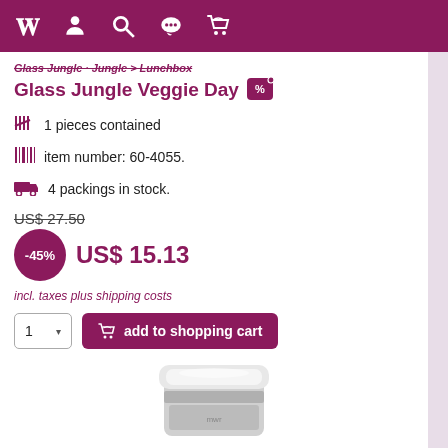Navigation bar with logo and icons
Glass Jungle Veggie Day
1 pieces contained
item number: 60-4055.
4 packings in stock.
US$ 27.50
-45%  US$ 15.13
incl. taxes plus shipping costs
1  add to shopping cart
[Figure (photo): Product image of a cylindrical glass/metal food jar with white lid, shown partially at the bottom of the page]